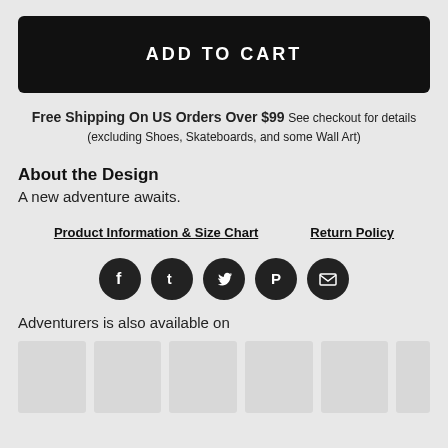ADD TO CART
Free Shipping On US Orders Over $99 See checkout for details (excluding Shoes, Skateboards, and some Wall Art)
About the Design
A new adventure awaits.
Product Information & Size Chart
Return Policy
[Figure (infographic): Five social media icon circles: Facebook, Tumblr, Twitter, Pinterest, Email]
Adventurers is also available on
[Figure (infographic): Six product thumbnail placeholder boxes in a row]